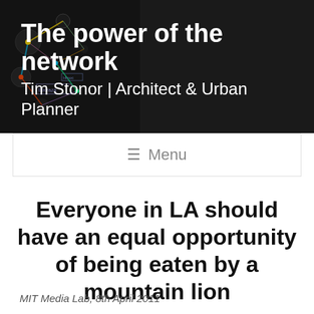The power of the network — Tim Stonor | Architect & Urban Planner
[Figure (screenshot): Website navigation menu bar showing hamburger icon and 'Menu' text]
Everyone in LA should have an equal opportunity of being eaten by a mountain lion
MIT Media Lab, 8th April 2011